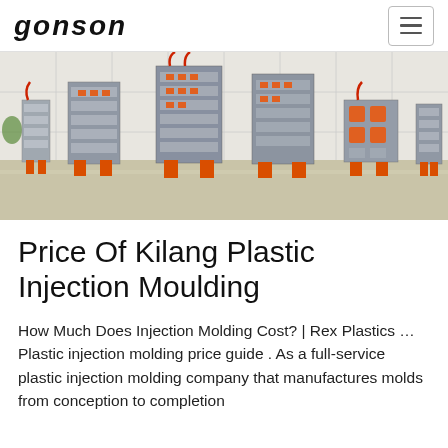GONSON
[Figure (photo): Multiple injection molds of various sizes displayed upright on orange stands in an industrial facility with white tiled walls. The molds are metallic/silver with orange accents and fittings.]
Price Of Kilang Plastic Injection Moulding
How Much Does Injection Molding Cost? | Rex Plastics … Plastic injection molding price guide . As a full-service plastic injection molding company that manufactures molds from conception to completion